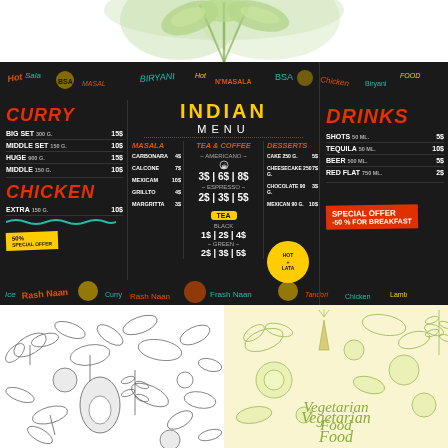[Figure (illustration): Decorative watercolor herbs/vegetables at top of page]
[Figure (illustration): Indian restaurant chalkboard menu with sections for Curry, Chicken, Indian Menu (center with Masala, Tea & Coffee, Desserts), and Drinks. Special offers shown. Dark chalkboard background with colorful doodles.]
INDIAN MENU
CURRY
Big Set 300 g. — 15$
Middle Set 150 g. — 10$
Huge 900 g. — 15$
Middle 150 g. — 10$
CHICKEN
Extra 150 g. — 10$
MASALA
TEA & COFFEE
DESSERTS
DRINKS
SPECIAL OFFER -50% FOR BREAKFAST
[Figure (illustration): Black and white botanical/food doodle pattern on white background]
[Figure (illustration): Yellow-tinted vegetable illustration with 'Vegetarian Food' text]